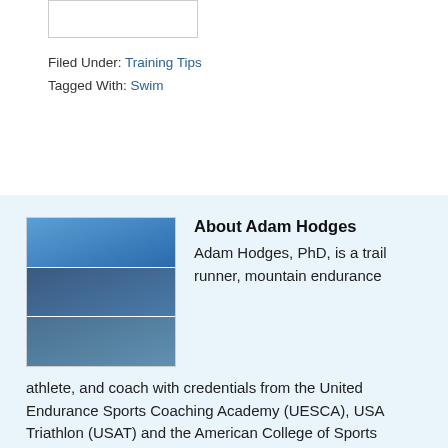Filed Under: Training Tips
Tagged With: Swim
About Adam Hodges
Adam Hodges, PhD, is a trail runner, mountain endurance athlete, and coach with credentials from the United Endurance Sports Coaching Academy (UESCA), USA Triathlon (USAT) and the American College of Sports Medicine (ACSM). In addition to coaching multisport athletes, he has coached high school cross country and track...